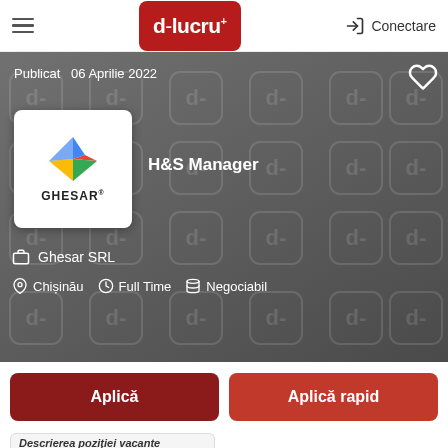delucru+ | Conectare
Publicat  06 Aprilie 2022
[Figure (logo): Ghesar company logo with diamond-shaped multi-color icon and GHESAR text]
H&S Manager
Ghesar SRL
Chișinău   Full Time   Negociabil
Aplică
Aplică rapid
Descrierea poziției vacante